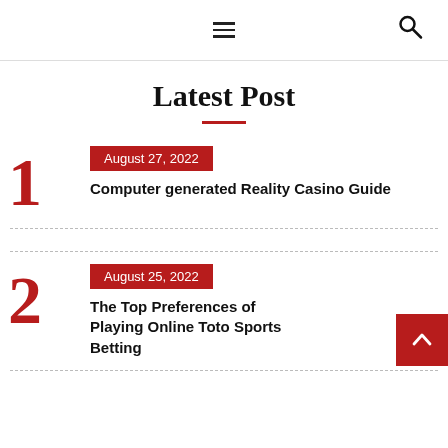≡ 🔍
Latest Post
1 | August 27, 2022 | Computer generated Reality Casino Guide
2 | August 25, 2022 | The Top Preferences of Playing Online Toto Sports Betting